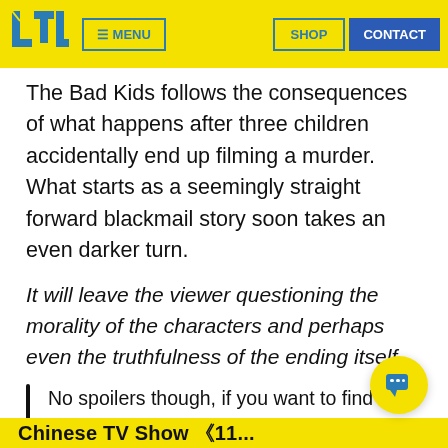LTL | MENU | SHOP | CONTACT
The Bad Kids follows the consequences of what happens after three children accidentally end up filming a murder. What starts as a seemingly straight forward blackmail story soon takes an even darker turn.
It will leave the viewer questioning the morality of the characters and perhaps even the truthfulness of the ending itself…
No spoilers though, if you want to find out more about the show read our full review of The Bad Kids.
Chinese TV Show «11...